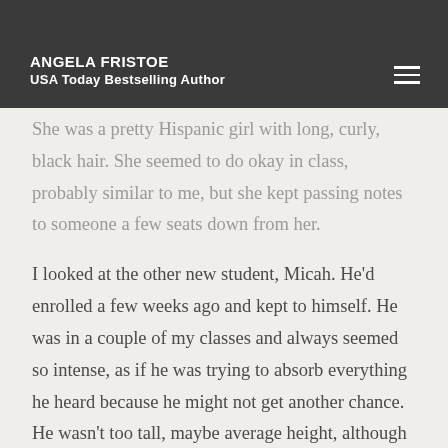ANGELA FRISTOE
USA Today Bestselling Author
She was a pretty Hispanic girl with long, curly, black hair. She seemed to do okay in class, probably similar to me, but she kept passing notes to someone a few seats down from her.
I looked at the other new student, Micah. He'd enrolled a few weeks ago and kept to himself. He was in a couple of my classes and always seemed so intense, as if he was trying to absorb everything he heard because he might not get another chance. He wasn't too tall, maybe average height, although he'd still tower over me. Chloe considered him a hottie, but she'd once said the same about Justin Bieber. I had to admit, though, he was attractive in a dangerous kind of way. Not something many guys in Beachgrove could claim.
“Now, about your partners,” Ms. Garcia said, pausing until everyone focused back on her. “I see some of you trying to